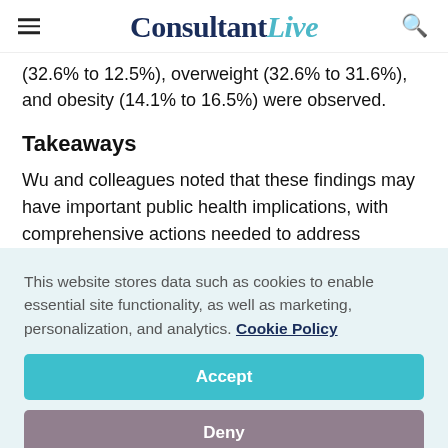ConsultantLive
(32.6% to 12.5%), overweight (32.6% to 31.6%), and obesity (14.1% to 16.5%) were observed.
Takeaways
Wu and colleagues noted that these findings may have important public health implications, with comprehensive actions needed to address
This website stores data such as cookies to enable essential site functionality, as well as marketing, personalization, and analytics. Cookie Policy
Accept
Deny